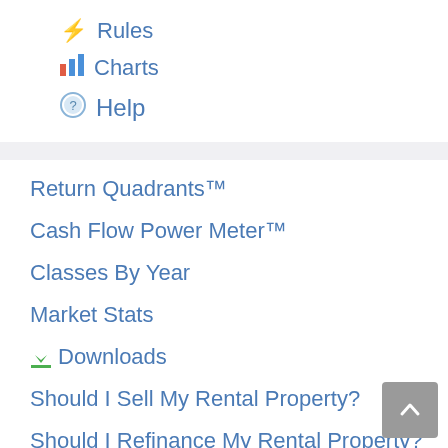⚡ Rules
📊 Charts
⊙ Help
Return Quadrants™
Cash Flow Power Meter™
Classes By Year
Market Stats
⬇ Downloads
Should I Sell My Rental Property?
Should I Refinance My Rental Property?